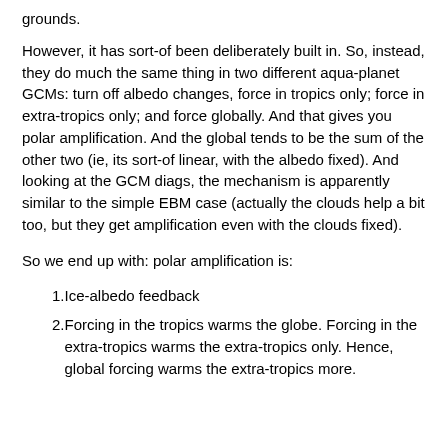grounds.
However, it has sort-of been deliberately built in. So, instead, they do much the same thing in two different aqua-planet GCMs: turn off albedo changes, force in tropics only; force in extra-tropics only; and force globally. And that gives you polar amplification. And the global tends to be the sum of the other two (ie, its sort-of linear, with the albedo fixed). And looking at the GCM diags, the mechanism is apparently similar to the simple EBM case (actually the clouds help a bit too, but they get amplification even with the clouds fixed).
So we end up with: polar amplification is:
Ice-albedo feedback
Forcing in the tropics warms the globe. Forcing in the extra-tropics warms the extra-tropics only. Hence, global forcing warms the extra-tropics more.